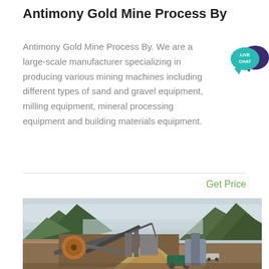Antimony Gold Mine Process By
Antimony Gold Mine Process By. We are a large-scale manufacturer specializing in producing various mining machines including different types of sand and gravel equipment, milling equipment, mineral processing equipment and building materials equipment.
[Figure (photo): Live Chat bubble icon — teal speech bubble with dark purple larger bubble behind, text LIVE CHAT in white]
Get Price
[Figure (photo): Outdoor photo of a mining processing facility with conveyor belts, heavy machinery, stockpile of material, river in background, green forested mountains, overcast sky]